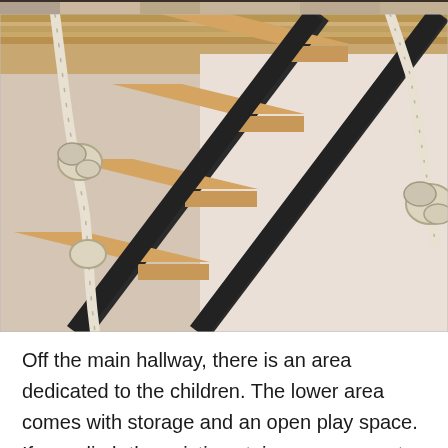[Figure (photo): Close-up photo of a wooden and black metal ladder leaning at an angle, with white rope threaded through the rungs forming knots. The ladder appears to be a loft or play area ladder photographed from below against a light beige wall.]
Off the main hallway, there is an area dedicated to the children. The lower area comes with storage and an open play space. If you climb the existing stairs, you can go to the lofted bedroom